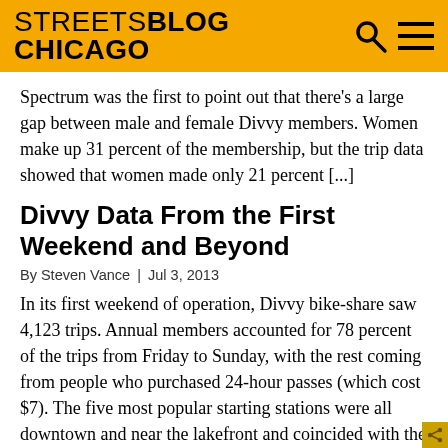STREETSBLOG CHICAGO
Spectrum was the first to point out that there's a large gap between male and female Divvy members. Women make up 31 percent of the membership, but the trip data showed that women made only 21 percent [...]
Divvy Data From the First Weekend and Beyond
By Steven Vance | Jul 3, 2013
In its first weekend of operation, Divvy bike-share saw 4,123 trips. Annual members accounted for 78 percent of the trips from Friday to Sunday, with the rest coming from people who purchased 24-hour passes (which cost $7). The five most popular starting stations were all downtown and near the lakefront and coincided with the five most [...]
Does Divvy Need to Be Made Idiot-Proof?